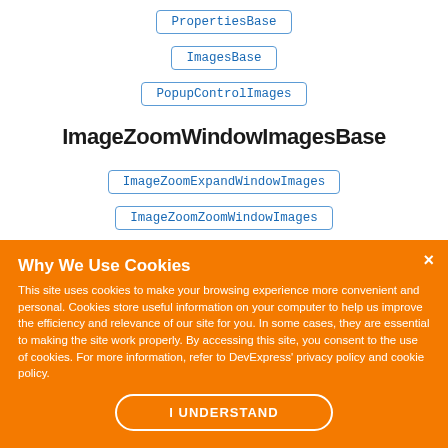[Figure (organizational-chart): Class hierarchy diagram showing PropertiesBase at top, ImagesBase below it, PopupControlImages below that, then ImageZoomWindowImagesBase as bold main node, with ImageZoomExpandWindowImages and ImageZoomZoomWindowImages as children below.]
Why We Use Cookies
This site uses cookies to make your browsing experience more convenient and personal. Cookies store useful information on your computer to help us improve the efficiency and relevance of our site for you. In some cases, they are essential to making the site work properly. By accessing this site, you consent to the use of cookies. For more information, refer to DevExpress' privacy policy and cookie policy.
I UNDERSTAND